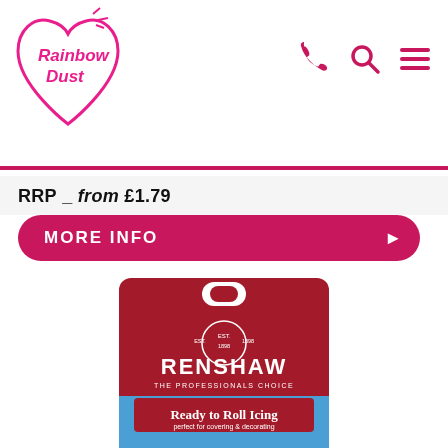Rainbow Dust
RRP _ from £1.79
MORE INFO
[Figure (photo): Renshaw Ready to Roll Icing product package - red and blue bag with royal crest, white text reading RENSHAW THE PROFESSIONALS CHOICE, Ready to Roll Icing perfect for covering & decorating]